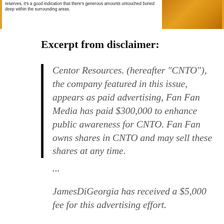reserves, it's a good indication that there's generous amounts untouched buried deep within the surrounding areas.
Excerpt from disclaimer:
Centor Resources. (hereafter “CNTO”), the company featured in this issue, appears as paid advertising, Fan Fan Media has paid $300,000 to enhance public awareness for CNTO. Fan Fan owns shares in CNTO and may sell these shares at any time.
...
JamesDiGeorgia has received a $5,000 fee for this advertising effort.